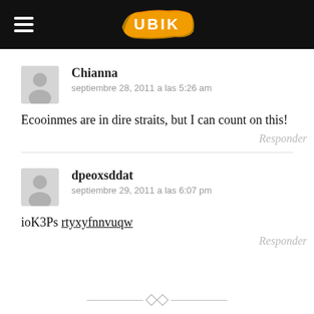UBIK
Chianna
septiembre 28, 2011 a las 5:26 am
Ecooinmes are in dire straits, but I can count on this!
Responder
dpeoxsddat
septiembre 29, 2011 a las 6:07 pm
ioK3Ps rtyxyfnnvuqw
Responder